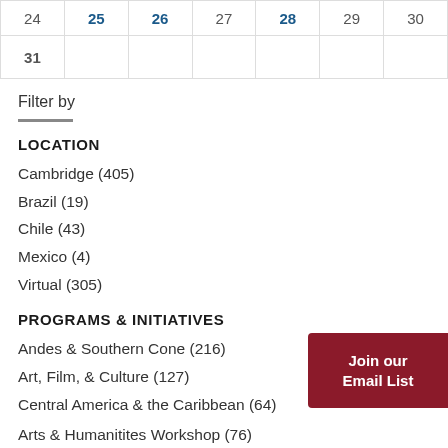| 24 | 25 | 26 | 27 | 28 | 29 | 30 |
| 31 |  |  |  |  |  |  |
Filter by
LOCATION
Cambridge (405)
Brazil (19)
Chile (43)
Mexico (4)
Virtual (305)
PROGRAMS & INITIATIVES
Andes & Southern Cone (216)
Art, Film, & Culture (127)
Central America & the Caribbean (64)
Arts & Humanitites Workshop (76)
[Figure (other): Join our Email List button (dark red background, white bold text)]